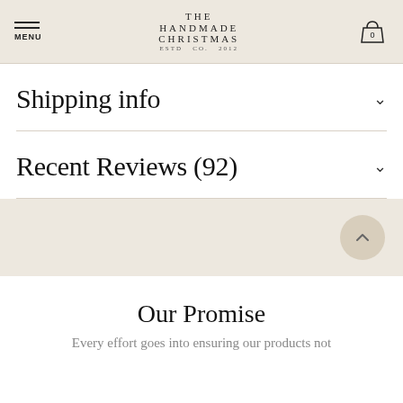MENU | THE HANDMADE CHRISTMAS CO. ESTD CO. 2012 | Cart 0
Shipping info
Recent Reviews (92)
Our Promise
Every effort goes into ensuring our products not